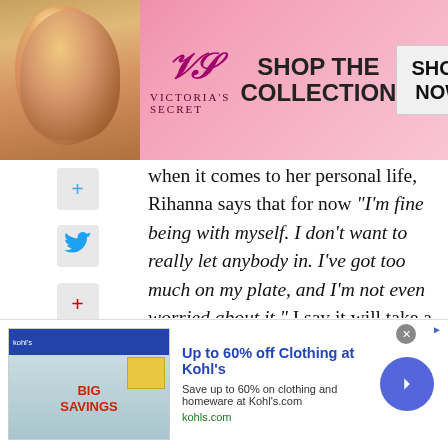[Figure (other): Victoria's Secret advertisement banner with model photo, VS logo, 'SHOP THE COLLECTION' text, and 'SHOP NOW' button]
when it comes to her personal life, Rihanna says that for now "I'm fine being with myself. I don't want to really let anybody in. I've got too much on my plate, and I'm not even worried about it." I say it will take a very special person to share her life. "A hundred percent," she says. "A very extraordinary gentleman, with a lot of patience, will come along when I least expect it. And I don't want it right now. I can't really be everything for someone. This is my reality right
[Figure (other): Kohl's advertisement: 'Up to 60% off Clothing at Kohl's', Save up to 60% on clothing and homeware at Kohl's.com, kohls.com]